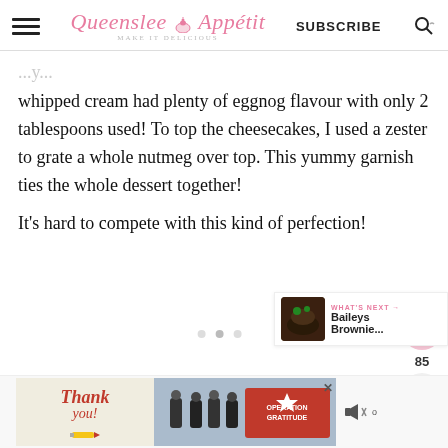Queenslee Appétit — SUBSCRIBE
whipped cream had plenty of eggnog flavour with only 2 tablespoons used! To top the cheesecakes, I used a zester to grate a whole nutmeg over top. This yummy garnish ties the whole dessert together!
It's hard to compete with this kind of perfection!
[Figure (other): Baileys Brownie thumbnail for What's Next section]
[Figure (other): Advertisement banner: Thank you, Operation Gratitude with firefighters photo]